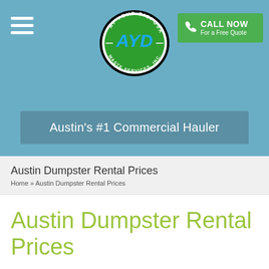[Figure (logo): AYD - At Your Disposal Waste Services Inc. logo, oval shaped with green background and blue AYD text]
CALL NOW For a Free Quote
Austin's #1 Commercial Hauler
Austin Dumpster Rental Prices
Home » Austin Dumpster Rental Prices
Austin Dumpster Rental Prices
Posted on August 7, 2010 by hmdigital